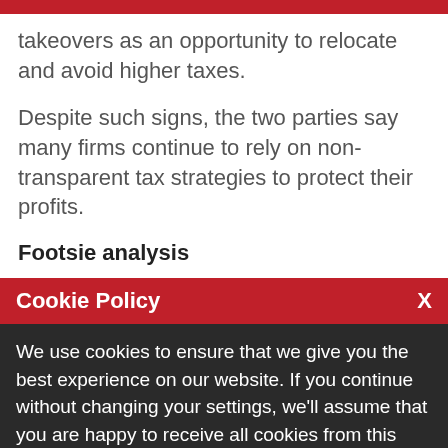takeovers as an opportunity to relocate and avoid higher taxes.
Despite such signs, the two parties say many firms continue to rely on non-transparent tax strategies to protect their profits.
Footsie analysis
Cookie Policy  X
We use cookies to ensure that we give you the best experience on our website. If you continue without changing your settings, we'll assume that you are happy to receive all cookies from this website. If you would like to change your preferences you may do so by following the instructions here.
Action director of engagement [noise] may
The [partially visible text]